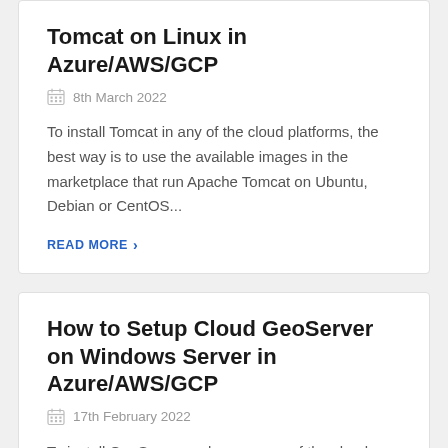Tomcat on Linux in Azure/AWS/GCP
8th March 2022
To install Tomcat in any of the cloud platforms, the best way is to use the available images in the marketplace that run Apache Tomcat on Ubuntu, Debian or CentOS...
READ MORE
How to Setup Cloud GeoServer on Windows Server in Azure/AWS/GCP
17th February 2022
To install GeoServer and run on any of the cloud platforms, the best way is to